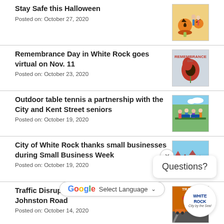Stay Safe this Halloween
Posted on: October 27, 2020
[Figure (photo): Family with Halloween pumpkins]
Remembrance Day in White Rock goes virtual on Nov. 11
Posted on: October 23, 2020
[Figure (photo): Remembrance Day red poppy graphic]
Outdoor table tennis a partnership with the City and Kent Street seniors
Posted on: October 19, 2020
[Figure (photo): Group of seniors playing outdoor table tennis]
City of White Rock thanks small businesses during Small Business Week
Posted on: October 19, 2020
[Figure (photo): Aerial view of White Rock small businesses]
Traffic Disruption at Thrift Avenue and Johnston Road
Posted on: October 14, 2020
[Figure (photo): Traffic disruption construction photo]
Fire Prevention Week – Oct. 4 – 10, 2020
[Figure (photo): Fire prevention image]
Select Language